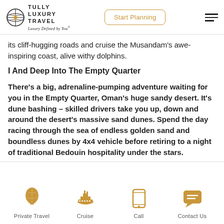TULLY LUXURY TRAVEL — Luxury Defined by You® | Start Planning
its cliff-hugging roads and cruise the Musandam's awe-inspiring coast, alive withy dolphins.
I And Deep Into The Empty Quarter
There's a big, adrenaline-pumping adventure waiting for you in the Empty Quarter, Oman's huge sandy desert. It's dune bashing – skilled drivers take you up, down and around the desert's massive sand dunes. Spend the day racing through the sea of endless golden sand and boundless dunes by 4x4 vehicle before retiring to a night of traditional Bedouin hospitality under the stars.
Private Travel | Cruise | Call | Contact Us